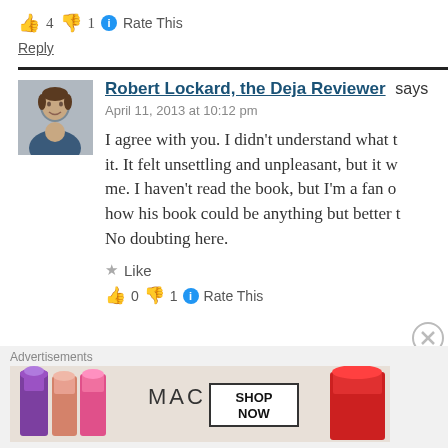👍 4 👎 1 ℹ Rate This
Reply
Robert Lockard, the Deja Reviewer says
April 11, 2013 at 10:12 pm
I agree with you. I didn't understand what t it. It felt unsettling and unpleasant, but it w me. I haven't read the book, but I'm a fan o how his book could be anything but better t No doubting here.
★ Like
👍 0 👎 1 ℹ Rate This
Advertisements
[Figure (photo): MAC cosmetics advertisement banner showing lipsticks with SHOP NOW text]